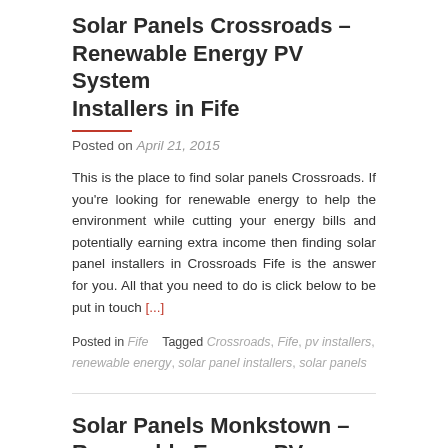Solar Panels Crossroads – Renewable Energy PV System Installers in Fife
Posted on April 21, 2015
This is the place to find solar panels Crossroads. If you're looking for renewable energy to help the environment while cutting your energy bills and potentially earning extra income then finding solar panel installers in Crossroads Fife is the answer for you. All that you need to do is click below to be put in touch [...]
Posted in Fife   Tagged Crossroads, Fife, pv installers, renewable energy, solar panel installers, solar panels
Solar Panels Monkstown – Renewable Energy PV System Installers in Fife
Posted on April 21, 2015